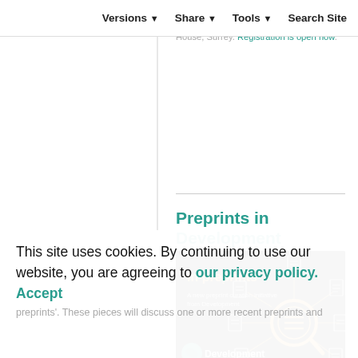Versions ▾   Share ▾   Tools ▾   Search Site
Journal Meeting will be held from 11-14 September 2022 at the historic Wotton House, Surrey. Registration is open now.
Preprints in Development
[Figure (illustration): In preprints banner: dark background with text 'In preprints', 'A new preprint curation initiative from Development', Development journal logo, and decorative document/magnifier icon network diagram in gold and white.]
As part of our efforts to support the use of preprints and help curate the
This site uses cookies. By continuing to use our website, you are agreeing to our privacy policy. Accept
preprints'. These pieces will discuss one or more recent preprints and